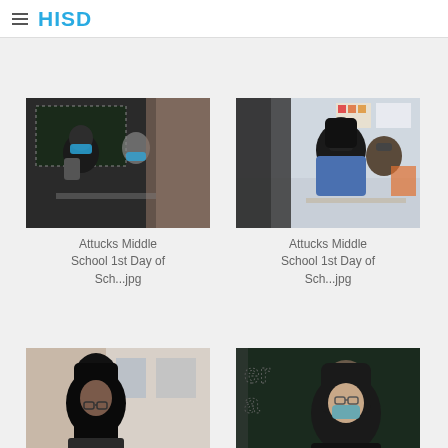HISD
[Figure (photo): Students wearing masks seated in a classroom at Attucks Middle School on the 1st day of school]
Attucks Middle School 1st Day of Sch...jpg
[Figure (photo): Students wearing masks seated in a classroom at Attucks Middle School on the 1st day of school, second photo]
Attucks Middle School 1st Day of Sch...jpg
[Figure (photo): Student with glasses at school, partially visible, bottom row left]
[Figure (photo): Student at chalkboard, partially visible, bottom row right]